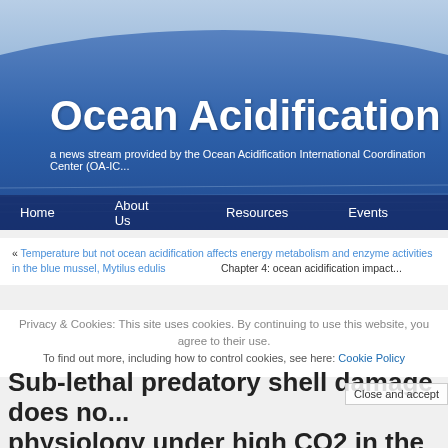[Figure (photo): Ocean Acidification website header banner showing ocean water with curved horizon and blue sky, with large white text 'Ocean Acidification' and subtitle text about OA-ICC news stream, plus navigation bar with Home, About Us, Resources, Events links.]
Ocean Acidification
a news stream provided by the Ocean Acidification International Coordination Center (OA-IC...
Home   About Us   Resources   Events
« Temperature but not ocean acidification affects energy metabolism and enzyme activities in the blue mussel, Mytilus edulis
Chapter 4: ocean acidification impact...
Privacy & Cookies: This site uses cookies. By continuing to use this website, you agree to their use.
To find out more, including how to control cookies, see here: Cookie Policy
Sub-lethal predatory shell damage does no... physiology under high CO2 in the intertidal gastroped Tritia reticulata